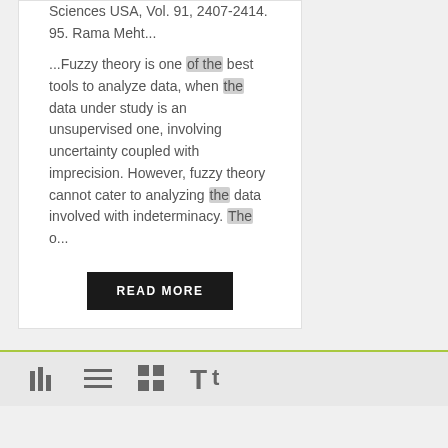Sciences USA, Vol. 91, 2407-2414. 95. Rama Meht...
...Fuzzy theory is one of the best tools to analyze data, when the data under study is an unsupervised one, involving uncertainty coupled with imprecision. However, fuzzy theory cannot cater to analyzing the data involved with indeterminacy. The o...
READ MORE
[Figure (other): Toolbar with four icons: bar chart view, list view, grid view, and text/font size toggle]